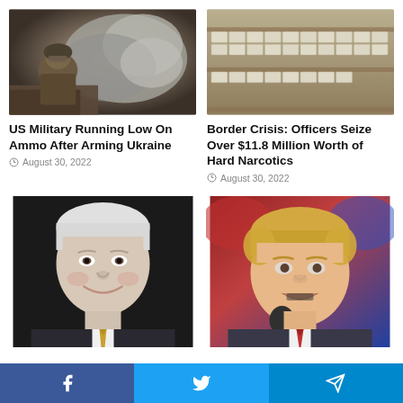[Figure (photo): Soldier in combat gear with dust/smoke cloud behind]
[Figure (photo): Large stacked bricks of narcotics on shelving]
US Military Running Low On Ammo After Arming Ukraine
August 30, 2022
Border Crisis: Officers Seize Over $11.8 Million Worth of Hard Narcotics
August 30, 2022
[Figure (photo): Headshot of Mike Pence smiling, white hair, suit and tie]
[Figure (photo): Donald Trump speaking at microphone at rally, red tie]